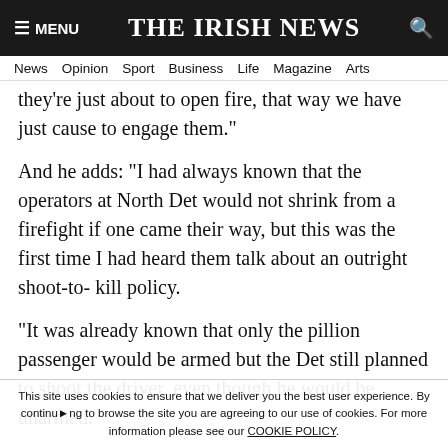≡ MENU   THE IRISH NEWS   🔍
News  Opinion  Sport  Business  Life  Magazine  Arts
they're just about to open fire, that way we have just cause to engage them."
And he adds: "I had always known that the operators at North Det would not shrink from a firefight if one came their way, but this was the first time I had heard them talk about an outright shoot-to- kill policy.
"It was already known that only the pillion passenger would be armed but the Det still planned to shoot the driver, even though he would be unarmed.
"Thoughts of Loughgall sprang to mind and I...
This site uses cookies to ensure that we deliver you the best user experience. By continuing to browse the site you are agreeing to our use of cookies. For more information please see our COOKIE POLICY.